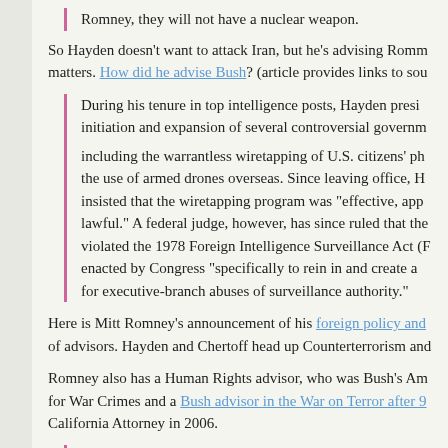Romney, they will not have a nuclear weapon.
So Hayden doesn't want to attack Iran, but he's advising Romney on foreign policy matters. How did he advise Bush? (article provides links to sources)
During his tenure in top intelligence posts, Hayden presided over the initiation and expansion of several controversial government programs, including the warrantless wiretapping of U.S. citizens' phones and the use of armed drones overseas. Since leaving office, Hayden has insisted that the wiretapping program was "effective, appropriate and lawful." A federal judge, however, has since ruled that the program violated the 1978 Foreign Intelligence Surveillance Act (FISA), enacted by Congress "specifically to rein in and create accountability for executive-branch abuses of surveillance authority."
Here is Mitt Romney's announcement of his foreign policy and national security team of advisors. Hayden and Chertoff head up Counterterrorism and National Security.
Romney also has a Human Rights advisor, who was Bush's Ambassador at Large for War Crimes and a Bush advisor in the War on Terror after 9/11, and ran for California Attorney in 2006.
Pierre Prosper has directly advised President George W. Bush and Secretaries of State Condoleezza Rice and General Colin Powell. Prosper informed U. S. policy responses during the earlier stages of the War on Terror.